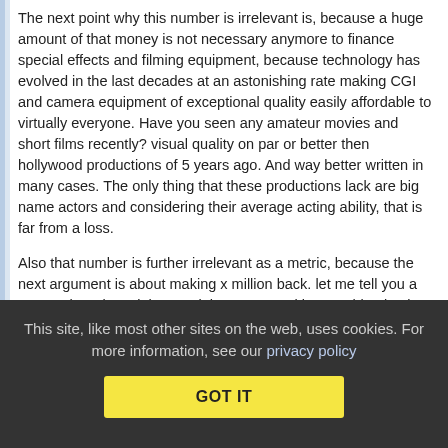The next point why this number is irrelevant is, because a huge amount of that money is not necessary anymore to finance special effects and filming equipment, because technology has evolved in the last decades at an astonishing rate making CGI and camera equipment of exceptional quality easily affordable to virtually everyone. Have you seen any amateur movies and short films recently? visual quality on par or better then hollywood productions of 5 years ago. And way better written in many cases. The only thing that these productions lack are big name actors and considering their average acting ability, that is far from a loss.
Also that number is further irrelevant as a metric, because the next argument is about making x million back. let me tell you a secret, there is no inherent right to ever making anything back. That x million is an investment with risk of total loss. you have to convince people that they want to pay for it and you don't do it
This site, like most other sites on the web, uses cookies. For more information, see our privacy policy
GOT IT